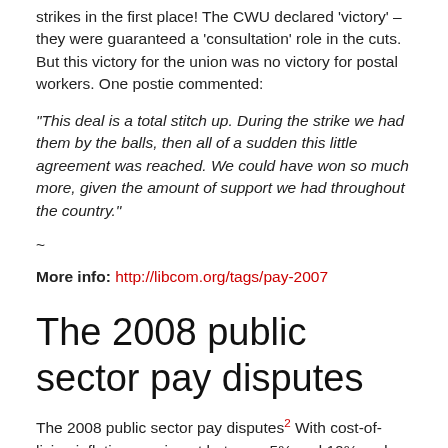strikes in the first place! The CWU declared 'victory' – they were guaranteed a 'consultation' role in the cuts. But this victory for the union was no victory for postal workers. One postie commented:
“This deal is a total stitch up. During the strike we had them by the balls, then all of a sudden this little agreement was reached. We could have won so much more, given the amount of support we had throughout the country.”
~
More info: http://libcom.org/tags/pay-2007
The 2008 public sector pay disputes
The 2008 public sector pay disputes2 With cost-of-living inflation running at between 5% and 10% and the government